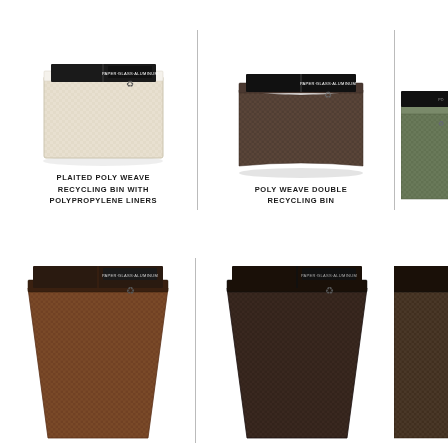[Figure (photo): Plaited poly weave recycling bin in cream/beige color with polypropylene liners, double compartment, top view showing divider and recycling labels]
PLAITED POLY WEAVE RECYCLING BIN WITH POLYPROPYLENE LINERS
[Figure (photo): Poly weave double recycling bin in dark brown/espresso color, double compartment, top view showing divider and recycling labels]
POLY WEAVE DOUBLE RECYCLING BIN
[Figure (photo): Partially visible third recycling bin product (cropped at right edge)]
[Figure (photo): Tall tapered poly weave recycling bin in medium brown color, double compartment, open top showing divider and recycling label]
[Figure (photo): Tall tapered poly weave recycling bin in dark espresso color, double compartment, open top showing divider and recycling label]
[Figure (photo): Partially visible third tall tapered recycling bin (cropped at right edge)]